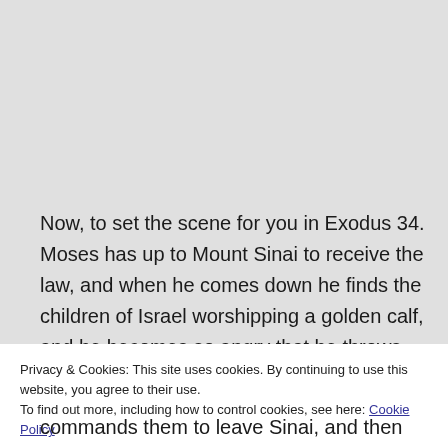Now, to set the scene for you in Exodus 34. Moses has up to Mount Sinai to receive the law, and when he comes down he finds the children of Israel worshipping a golden calf, and he becomes so angry that he throws the tablets down and breaks them.
Privacy & Cookies: This site uses cookies. By continuing to use this website, you agree to their use.
To find out more, including how to control cookies, see here: Cookie Policy
Close and accept
commands them to leave Sinai, and then God tells